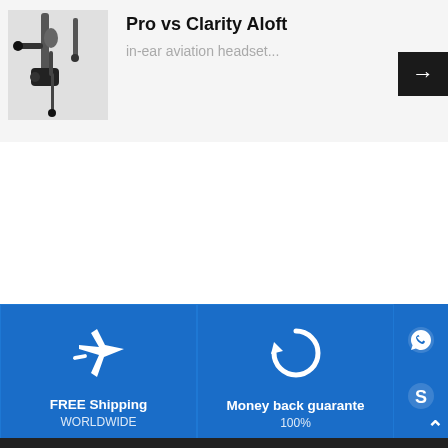[Figure (photo): Product image of in-ear aviation headset on gray background]
Pro vs Clarity Aloft
in-ear aviation headset...
[Figure (infographic): Four blue tiles: FREE Shipping WORLDWIDE (airplane icon), Money back guarantee 100% (refresh icon), Fast and Reliable Support (clock icon), 14 DAYS Quciky returned (lock icon). Right sidebar with WhatsApp, Skype, WeChat, email, phone icons.]